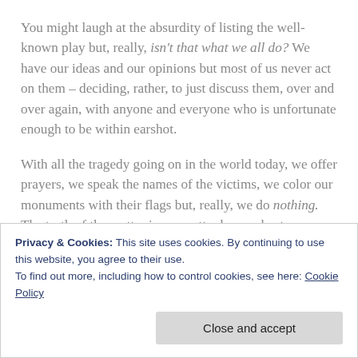You might laugh at the absurdity of listing the well-known play but, really, isn't that what we all do? We have our ideas and our opinions but most of us never act on them – deciding, rather, to just discuss them, over and over again, with anyone and everyone who is unfortunate enough to be within earshot.
With all the tragedy going on in the world today, we offer prayers, we speak the names of the victims, we color our monuments with their flags but, really, we do nothing. The truth of the matter is, no matter how upbeat or positive we try to be, we're always just
Privacy & Cookies: This site uses cookies. By continuing to use this website, you agree to their use.
To find out more, including how to control cookies, see here: Cookie Policy
Close and accept